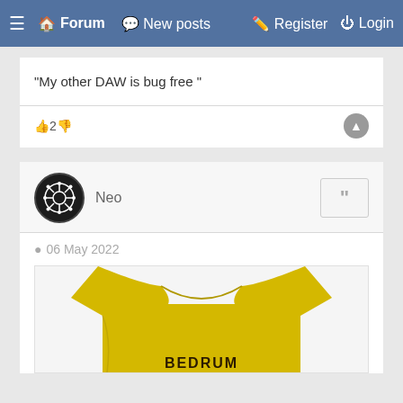≡ Forum  New posts  Register  Login
"My other DAW is bug free "
👍2👎
Neo
06 May 2022
[Figure (photo): Yellow t-shirt with text BEDRUM partially visible at bottom]